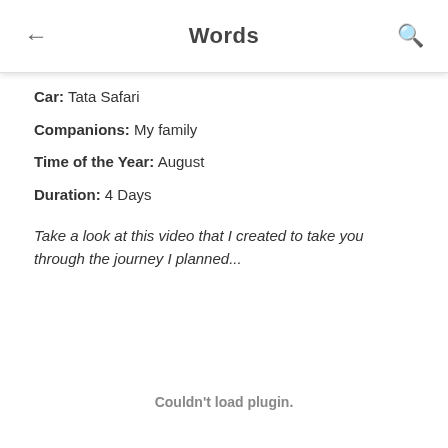Words
Car: Tata Safari
Companions: My family
Time of the Year: August
Duration: 4 Days
Take a look at this video that I created to take you through the journey I planned...
Couldn't load plugin.